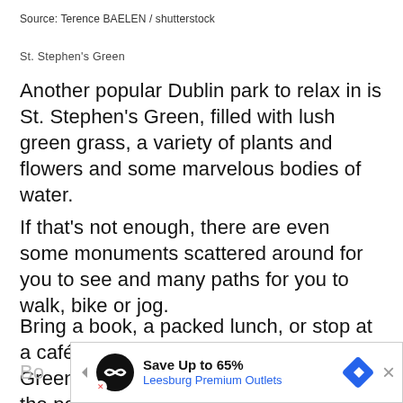Source: Terence BAELEN / shutterstock
St. Stephen’s Green
Another popular Dublin park to relax in is St. Stephen’s Green, filled with lush green grass, a variety of plants and flowers and some marvelous bodies of water.
If that’s not enough, there are even some monuments scattered around for you to see and many paths for you to walk, bike or jog.
Bring a book, a packed lunch, or stop at a café before heading to St. Stephen’s Green to enjoy a brisk, beautiful day at the park.
[Figure (screenshot): Advertisement banner for Leesburg Premium Outlets: Save Up to 65%]